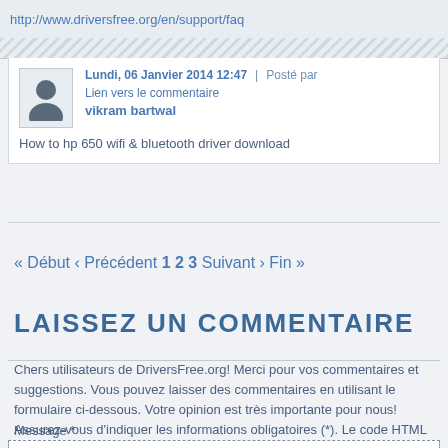http://www.driversfree.org/en/support/faq
Lundi, 06 Janvier 2014 12:47 | Posté par   Lien vers le commentaire
vikram bartwal
How to hp 650 wifi & bluetooth driver download
« Début « Précédent 1 2 3 Suivant › Fin »
LAISSEZ UN COMMENTAIRE
Chers utilisateurs de DriversFree.org! Merci pour vos commentaires et suggestions. Vous pouvez laisser des commentaires en utilisant le formulaire ci-dessous. Votre opinion est très importante pour nous! Assurez-vous d'indiquer les informations obligatoires (*). Le code HTML n'est pas autorisé.
Message *